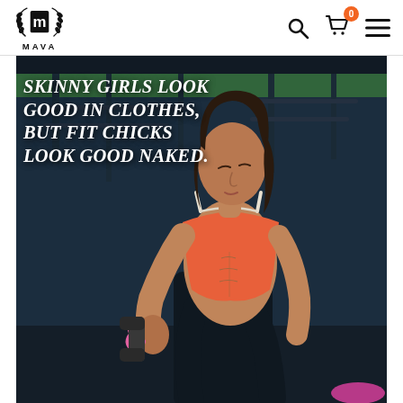[Figure (logo): MAVA brand logo with laurel wreath and stylized M emblem, text MAVA below]
[Figure (photo): Navigation bar with MAVA logo on left, search icon, shopping cart with orange badge showing 0, and hamburger menu on right]
[Figure (photo): Fitness promotional image of a fit woman in orange sports bra holding a dumbbell in a gym, with motivational text overlay]
SKINNY GIRLS LOOK GOOD IN CLOTHES, BUT FIT CHICKS LOOK GOOD NAKED.